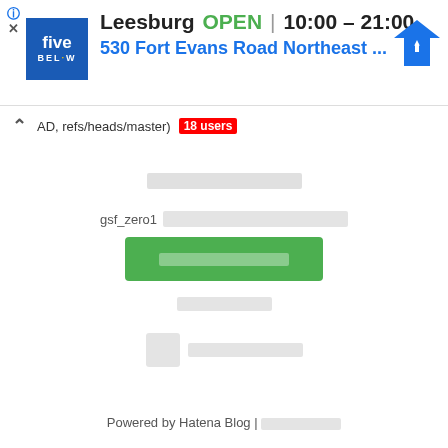[Figure (screenshot): Five Below store ad banner showing Leesburg location, OPEN status, hours 10:00-21:00, address 530 Fort Evans Road Northeast, with navigation icon]
AD, refs/heads/master) 18 users
[redacted title block]
gsf_zero1[redacted]
[green button - redacted label]
[redacted text]
[redacted icon and text]
Powered by Hatena Blog | [redacted]